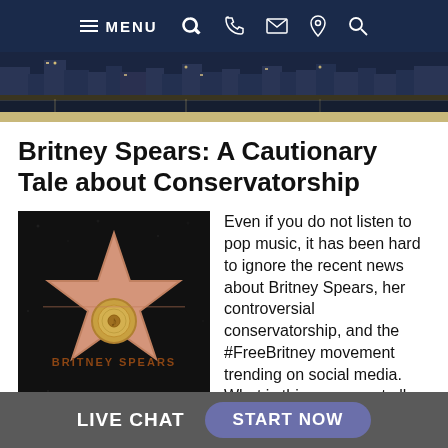≡ MENU  📞  ✉  📍  🔍
[Figure (photo): City night skyline banner photo showing waterfront with lights reflected on water]
Britney Spears: A Cautionary Tale about Conservatorship
[Figure (photo): Britney Spears' star on the Hollywood Walk of Fame, a pink terrazzo star with brass border reading 'BRITNEY SPEARS' and a central brass record emblem on dark granite]
Even if you do not listen to pop music, it has been hard to ignore the recent news about Britney Spears, her controversial conservatorship, and the #FreeBritney movement trending on social media. What is this movement all about? And why should average Americans care?
LIVE CHAT   START NOW